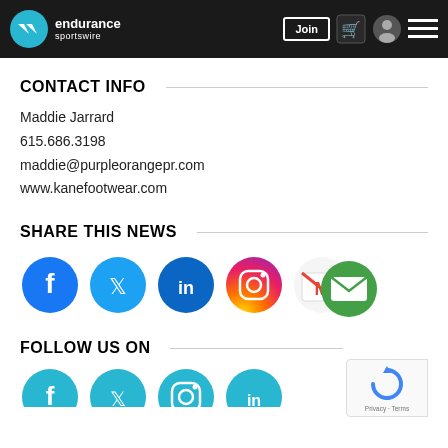endurance sportswire — Join | Cart | User | Menu
CONTACT INFO
Maddie Jarrard
615.686.3198
maddie@purpleorangepr.com
www.kanefootwear.com
SHARE THIS NEWS
[Figure (infographic): Six social media share icons in circles: Facebook (blue), Twitter (cyan), LinkedIn (dark blue), Instagram (gradient), Gmail (red/white M), Email (green envelope)]
FOLLOW US ON
[Figure (infographic): Four social media follow icons in circles (partially visible at bottom): Facebook (cyan), Twitter (cyan), Instagram (cyan), LinkedIn (cyan)]